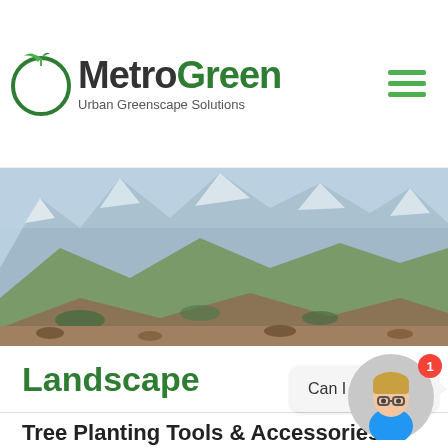[Figure (logo): MetroGreen logo with circular leaf icon, bold text 'MetroGreen' and tagline 'Urban Greenscape Solutions']
[Figure (illustration): Hamburger menu icon with three green horizontal lines]
[Figure (photo): Panoramic landscape photo of snowy mountains with green and brown valley terrain]
Landscape
Tree Planting Tools & Accessories
[Figure (illustration): Chat bubble saying 'Can I help you?' with avatar of a person with blonde hair and glasses wearing a blue shirt, with red notification badge showing '1']